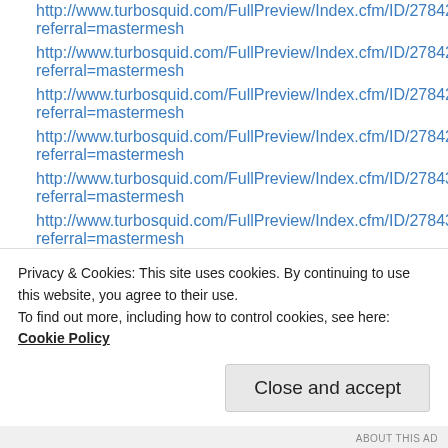http://www.turbosquid.com/FullPreview/Index.cfm/ID/278426scrapes referral=mastermesh
http://www.turbosquid.com/FullPreview/Index.cfm/ID/278427scrapes referral=mastermesh
http://www.turbosquid.com/FullPreview/Index.cfm/ID/278428scrapes referral=mastermesh
http://www.turbosquid.com/FullPreview/Index.cfm/ID/278429scrapes referral=mastermesh
http://www.turbosquid.com/FullPreview/Index.cfm/ID/278431scrapes referral=mastermesh
http://www.turbosquid.com/FullPreview/Index.cfm/ID/278432scrapes referral=mastermesh
http://www.turbosquid.com/FullPreview/Index.cfm/ID/278433scrapes referral=mastermesh
Privacy & Cookies: This site uses cookies. By continuing to use this website, you agree to their use.
To find out more, including how to control cookies, see here: Cookie Policy
Close and accept